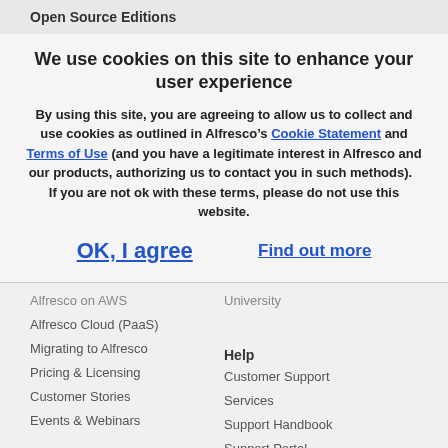Open Source Editions
We use cookies on this site to enhance your user experience
By using this site, you are agreeing to allow us to collect and use cookies as outlined in Alfresco’s Cookie Statement and Terms of Use (and you have a legitimate interest in Alfresco and our products, authorizing us to contact you in such methods).   If you are not ok with these terms, please do not use this website.
OK, I agree
Find out more
Alfresco on AWS
University
Alfresco Cloud (PaaS)
Migrating to Alfresco
Help
Pricing & Licensing
Customer Support
Customer Stories
Services
Events & Webinars
Support Handbook
Support Portal